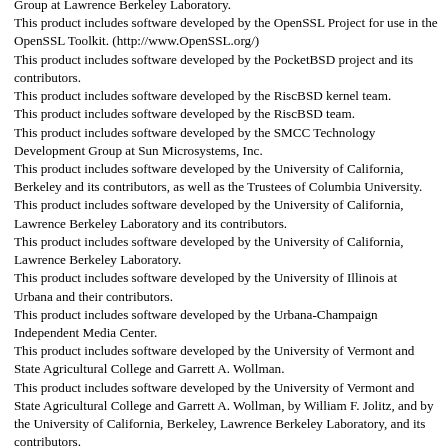Group at Lawrence Berkeley Laboratory.
This product includes software developed by the OpenSSL Project for use in the OpenSSL Toolkit. (http://www.OpenSSL.org/)
This product includes software developed by the PocketBSD project and its contributors.
This product includes software developed by the RiscBSD kernel team.
This product includes software developed by the RiscBSD team.
This product includes software developed by the SMCC Technology Development Group at Sun Microsystems, Inc.
This product includes software developed by the University of California, Berkeley and its contributors, as well as the Trustees of Columbia University.
This product includes software developed by the University of California, Lawrence Berkeley Laboratory and its contributors.
This product includes software developed by the University of California, Lawrence Berkeley Laboratory.
This product includes software developed by the University of Illinois at Urbana and their contributors.
This product includes software developed by the Urbana-Champaign Independent Media Center.
This product includes software developed by the University of Vermont and State Agricultural College and Garrett A. Wollman.
This product includes software developed by the University of Vermont and State Agricultural College and Garrett A. Wollman, by William F. Jolitz, and by the University of California, Berkeley, Lawrence Berkeley Laboratory, and its contributors.
This product includes software developed for the FreeBSD project
This product includes software developed for the NetBSD Project by Bernd Ernesti.